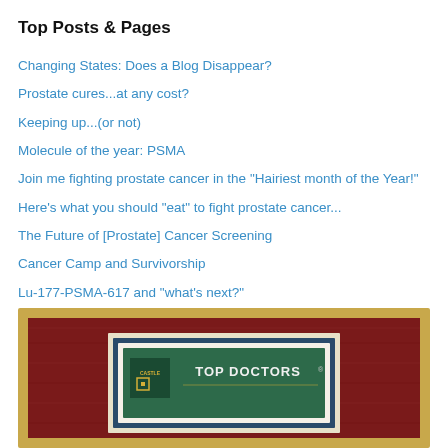Top Posts & Pages
Changing States: Does a Blog Disappear?
Prostate cures...at any cost?
Keeping up...(or not)
Molecule of the year: PSMA
Join me fighting prostate cancer in the "Hairiest month of the Year!"
Here's what you should "eat" to fight prostate cancer...
The Future of [Prostate] Cancer Screening
Cancer Camp and Survivorship
Lu-177-PSMA-617 and "what's next?"
Immune-oncology seminar tomorrow: May 4, 1:30pm EDT
[Figure (photo): Framed award plaque with gold frame and dark red wood background, containing a blue-framed white-bordered certificate reading 'Castle Connolly TOP DOCTORS' with a logo on a green background]